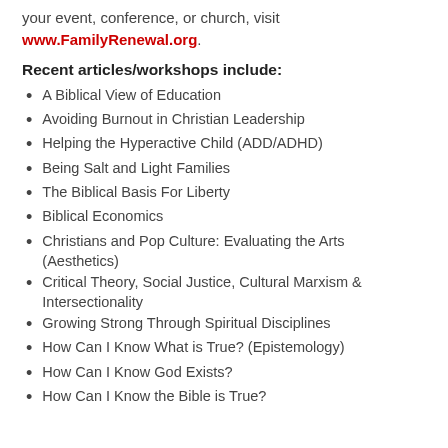your event, conference, or church, visit
www.FamilyRenewal.org.
Recent articles/workshops include:
A Biblical View of Education
Avoiding Burnout in Christian Leadership
Helping the Hyperactive Child (ADD/ADHD)
Being Salt and Light Families
The Biblical Basis For Liberty
Biblical Economics
Christians and Pop Culture: Evaluating the Arts (Aesthetics)
Critical Theory, Social Justice, Cultural Marxism & Intersectionality
Growing Strong Through Spiritual Disciplines
How Can I Know What is True? (Epistemology)
How Can I Know God Exists?
How Can I Know the Bible is True?